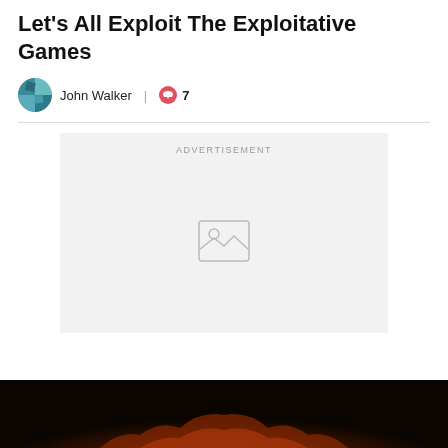Let's All Exploit The Exploitative Games
John Walker | 7
[Figure (illustration): Advertisement placeholder box with image icon in center and 'ADVERTISEMENT' label at top]
[Figure (photo): Dark fantasy game screenshot showing fiery demonic imagery at the bottom of the page]